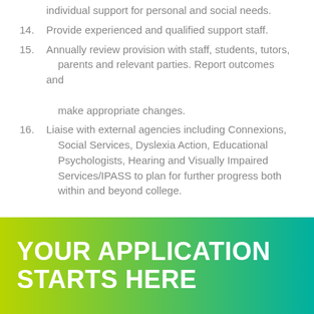individual support for personal and social needs.
14. Provide experienced and qualified support staff.
15. Annually review provision with staff, students, tutors, parents and relevant parties. Report outcomes and make appropriate changes.
16. Liaise with external agencies including Connexions, Social Services, Dyslexia Action, Educational Psychologists, Hearing and Visually Impaired Services/IPASS to plan for further progress both within and beyond college.
YOUR APPLICATION STARTS HERE